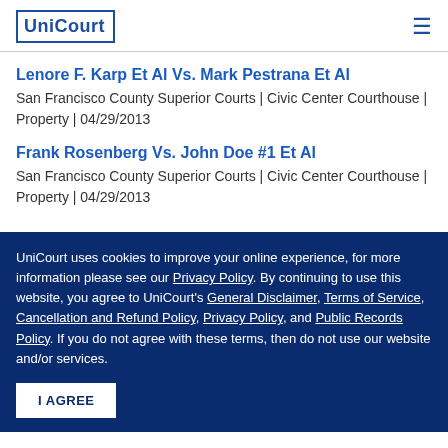UniCourt
Lenore F. Karp Et Al Vs. Mark Pestrana Et Al
San Francisco County Superior Courts | Civic Center Courthouse | Property | 04/29/2013
Frank Rosenberg Vs. John Doe #1 Et Al
San Francisco County Superior Courts | Civic Center Courthouse | Property | 04/29/2013
UniCourt uses cookies to improve your online experience, for more information please see our Privacy Policy. By continuing to use this website, you agree to UniCourt's General Disclaimer, Terms of Service, Cancellation and Refund Policy, Privacy Policy, and Public Records Policy. If you do not agree with these terms, then do not use our website and/or services.
I AGREE